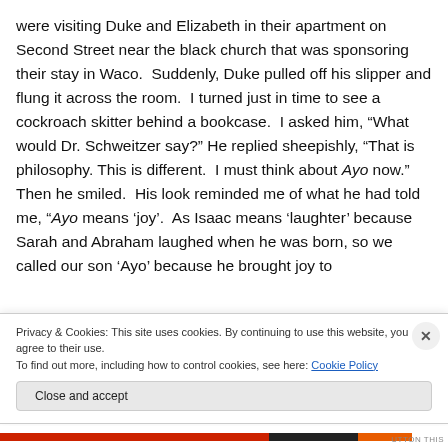were visiting Duke and Elizabeth in their apartment on Second Street near the black church that was sponsoring their stay in Waco.  Suddenly, Duke pulled off his slipper and flung it across the room.  I turned just in time to see a cockroach skitter behind a bookcase.  I asked him, “What would Dr. Schweitzer say?” He replied sheepishly, “That is philosophy. This is different.  I must think about Ayo now.” Then he smiled.  His look reminded me of what he had told me, “Ayo means ‘joy’.  As Isaac means ‘laughter’ because Sarah and Abraham laughed when he was born, so we called our son ‘Ayo’ because he brought joy to
Privacy & Cookies: This site uses cookies. By continuing to use this website, you agree to their use.
To find out more, including how to control cookies, see here: Cookie Policy
Close and accept